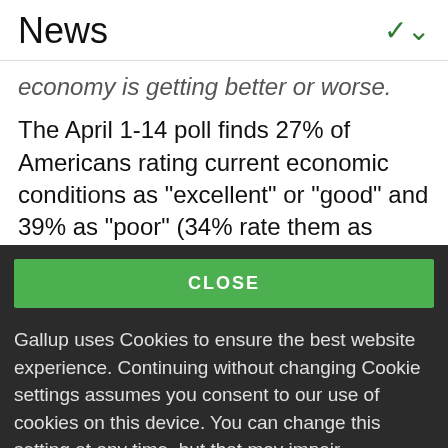News
economy is getting better or worse.
The April 1-14 poll finds 27% of Americans rating current economic conditions as "excellent" or "good" and 39% as "poor" (34% rate them as "only fair"). The rest of Survey results with...
CLOSE
Gallup uses Cookies to ensure the best website experience. Continuing without changing Cookie settings assumes you consent to our use of cookies on this device. You can change this setting at any time, but that may impair functionality on our websites.
Privacy Statement   Site Terms of Use and Sale
Product Terms of Use   Adjust your cookie settings.